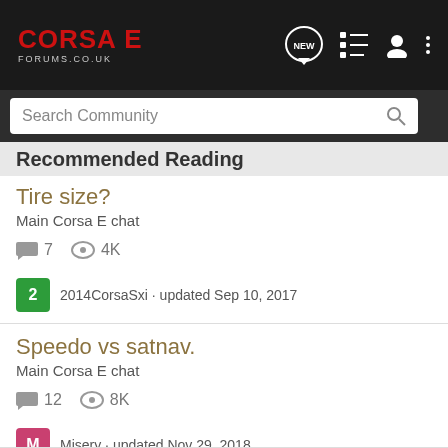CORSA E FORUMS.CO.UK
Search Community
Recommended Reading
Tire size?
Main Corsa E chat
7 comments · 4K views · 2014CorsaSxi · updated Sep 10, 2017
Speedo vs satnav.
Main Corsa E chat
12 comments · 8K views · Misery · updated Nov 29, 2018